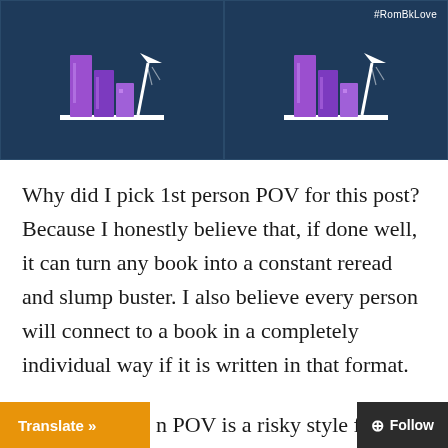[Figure (illustration): Two side-by-side panels with dark blue starry background, each showing purple books on a shelf with a white desk lamp. The right panel has the hashtag #RomBkLove in the upper right corner.]
Why did I pick 1st person POV for this post? Because I honestly believe that, if done well, it can turn any book into a constant reread and slump buster. I also believe every person will connect to a book in a completely individual way if it is written in that format.
n POV is a risky style for a...
Translate »
Follow